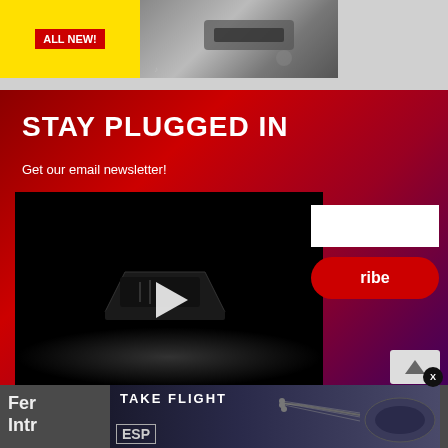[Figure (photo): Top strip with yellow background, red banner text, and photo of guitar/equipment]
[Figure (infographic): Stay Plugged In newsletter signup section with red gradient background, video player showing guitar pedal silhouette with play button, email input field, and subscribe button]
STAY PLUGGED IN
Get our email newsletter!
[Figure (photo): Advertisement banner: Take Flight ESP guitars ad with electric guitar image and ESP logo]